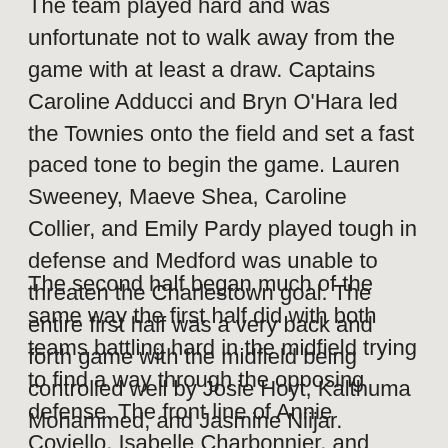The team played hard and was unfortunate not to walk away from the game with at least a draw. Captains Caroline Adducci and Bryn O'Hara led the Townies onto the field and set a fast paced tone to begin the game. Lauren Sweeney, Maeve Shea, Caroline Collier, and Emily Pardy played tough in defense and Medford was unable to threaten the Charlestown goal. The entire first half was a very back and forth game with the midfield being controlled well by Josie Hoyt, Kalthuma Mohammed, and Jasmine Niijar.
The second half began much of the same way the first half did with both teams battling hard in the midfield trying to find a way through the opposing defense. The front line of Annie Coviello, Isabelle Charbonnier, and Anneli Merivaara created several good chances on goal but were held scoreless by the Medford